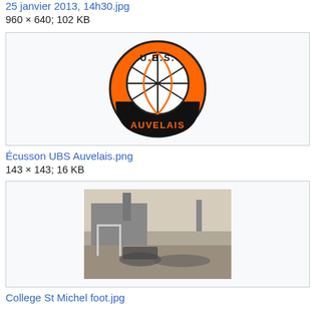25 janvier 2013, 14h30.jpg
960 × 640; 102 KB
[Figure (logo): UBS Auvelais basketball club logo: orange and black circular badge with a basketball in center, text 'U.B.S.' at top and 'AUVELAIS' at bottom on black band]
Écusson UBS Auvelais.png
143 × 143; 16 KB
[Figure (photo): Black and white historical photograph of a football team gathered in front of a building with a tall chimney or tower, College St Michel]
College St Michel foot.jpg